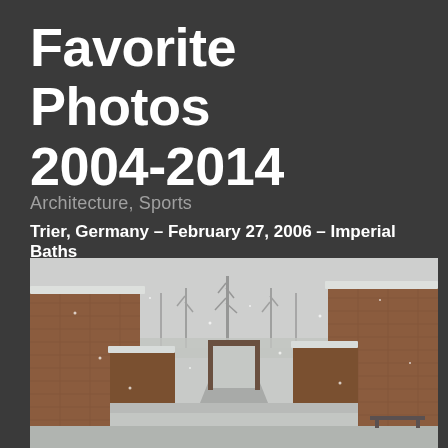Favorite Photos 2004-2014
Architecture, Sports
Trier, Germany – February 27, 2006 – Imperial Baths
[Figure (photo): Winter scene at the Imperial Baths (Kaiserthermen) in Trier, Germany. The photo shows ancient Roman brick ruins with snow covering the tops of the walls. A pathway leads through the center between the tall ruined walls, with bare snow-covered trees visible in the misty background. Snow is falling and covers the ground. A bench is visible on the right side.]